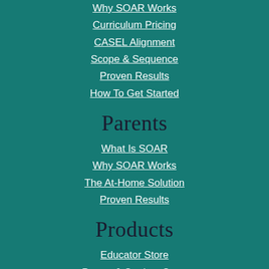Why SOAR Works
Curriculum Pricing
CASEL Alignment
Scope & Sequence
Proven Results
How To Get Started
Parents
What Is SOAR
Why SOAR Works
The At-Home Solution
Proven Results
Products
Educator Store
Parent & Student Store